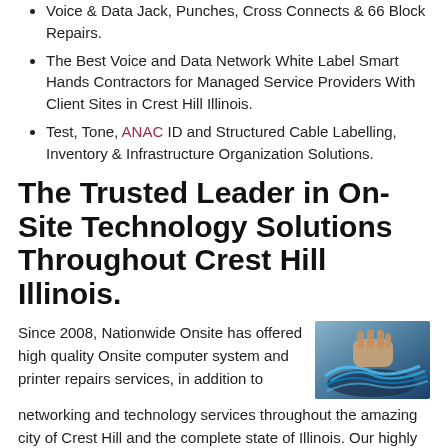Voice & Data Jack, Punches, Cross Connects & 66 Block Repairs.
The Best Voice and Data Network White Label Smart Hands Contractors for Managed Service Providers With Client Sites in Crest Hill Illinois.
Test, Tone, ANAC ID and Structured Cable Labelling, Inventory & Infrastructure Organization Solutions.
The Trusted Leader in On-Site Technology Solutions Throughout Crest Hill Illinois.
[Figure (photo): Photo of hands working with networking cables and patch panel]
Since 2008, Nationwide Onsite has offered high quality Onsite computer system and printer repairs services, in addition to networking and technology services throughout the amazing city of Crest Hill and the complete state of Illinois. Our highly experienced, mobile, industry accredited onsite computer repair and networking professionals have taken care of thousands of